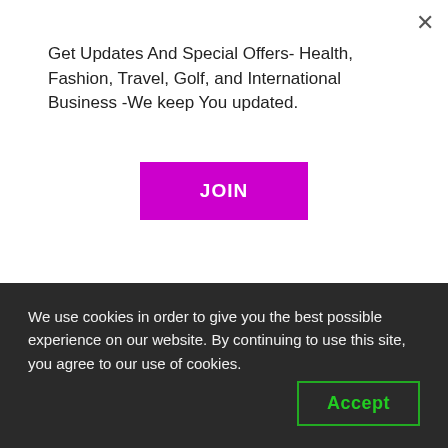Get Updates And Special Offers- Health, Fashion, Travel, Golf, and International Business -We keep You updated.
JOIN
This article is worth reading – I recommend it to you.
Yummy Lummy: Crispy pork loin and pickled
We use cookies in order to give you the best possible experience on our website. By continuing to use this site, you agree to our use of cookies.
Accept